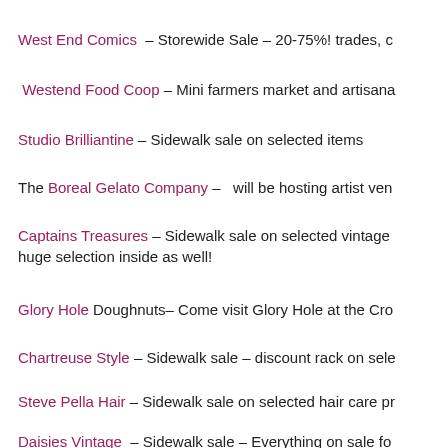West End Comics – Storewide Sale – 20-75%! trades, c
Westend Food Coop – Mini farmers market and artisana
Studio Brilliantine – Sidewalk sale on selected items
The Boreal Gelato Company – will be hosting artist ven
Captains Treasures – Sidewalk sale on selected vintage huge selection inside as well!
Glory Hole Doughnuts– Come visit Glory Hole at the Cro
Chartreuse Style – Sidewalk sale – discount rack on sele
Steve Pella Hair – Sidewalk sale on selected hair care pr
Daisies Vintage – Sidewalk sale – Everything on sale fo items / small furniture pieces. Free freezies, popsicles an